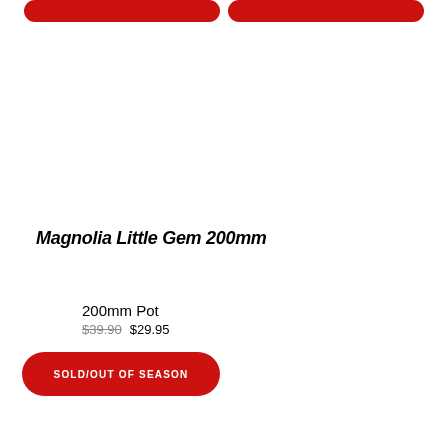[Figure (other): Two red rounded rectangle buttons partially visible at the very top of the page]
Magnolia Little Gem 200mm
200mm Pot
$39.90 $29.95
SOLD/OUT OF SEASON